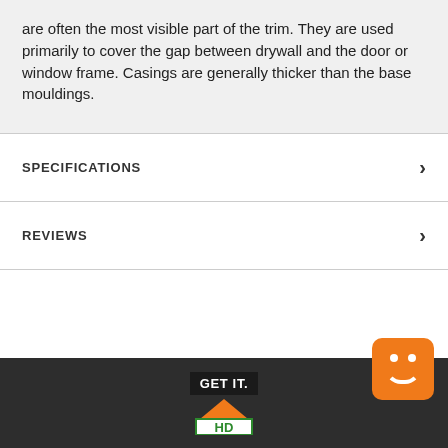are often the most visible part of the trim. They are used primarily to cover the gap between drywall and the door or window frame. Casings are generally thicker than the base mouldings.
SPECIFICATIONS
REVIEWS
[Figure (logo): Home Depot logo with 'GET IT.' text above orange roof icon and green/white logo bars]